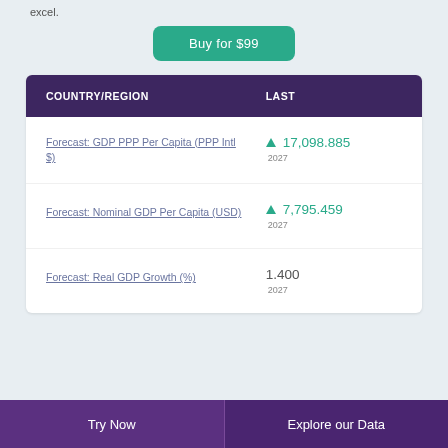excel.
Buy for $99
| COUNTRY/REGION | LAST |
| --- | --- |
| Forecast: GDP PPP Per Capita (PPP Intl $) | ▲ 17,098.885
2027 |
| Forecast: Nominal GDP Per Capita (USD) | ▲ 7,795.459
2027 |
| Forecast: Real GDP Growth (%) | 1.400
2027 |
Try Now
Explore our Data